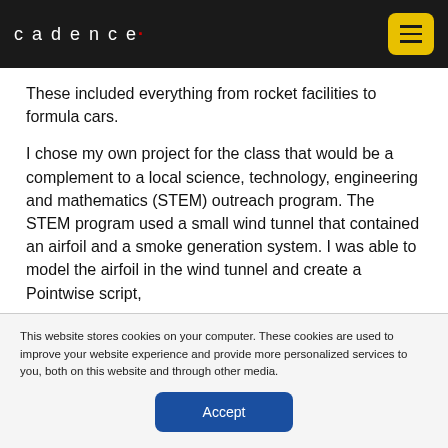cadence
These included everything from rocket facilities to formula cars.
I chose my own project for the class that would be a complement to a local science, technology, engineering and mathematics (STEM) outreach program. The STEM program used a small wind tunnel that contained an airfoil and a smoke generation system. I was able to model the airfoil in the wind tunnel and create a Pointwise script,
This website stores cookies on your computer. These cookies are used to improve your website experience and provide more personalized services to you, both on this website and through other media.
Accept